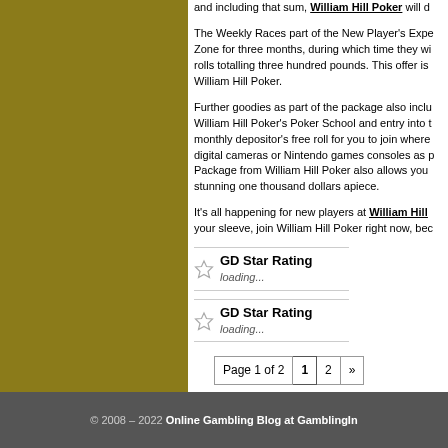and including that sum, William Hill Poker will d
The Weekly Races part of the New Player's Expe Zone for three months, during which time they wi rolls totalling three hundred pounds. This offer is William Hill Poker.
Further goodies as part of the package also inclu William Hill Poker's Poker School and entry into t monthly depositor's free roll for you to join where digital cameras or Nintendo games consoles as p Package from William Hill Poker also allows you stunning one thousand dollars apiece.
It's all happening for new players at William Hill your sleeve, join William Hill Poker right now, bec
GD Star Rating
loading...
GD Star Rating
loading...
Page 1 of 2  1  2  »
© 2008 – 2022 Online Gambling Blog at GamblingIn